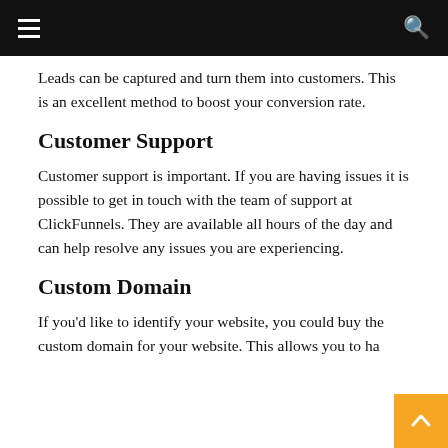Leads can be captured and turn them into customers. This is an excellent method to boost your conversion rate.
Customer Support
Customer support is important. If you are having issues it is possible to get in touch with the team of support at ClickFunnels. They are available all hours of the day and can help resolve any issues you are experiencing.
Custom Domain
If you'd like to identify your website, you could buy the custom domain for your website. This allows you to ha